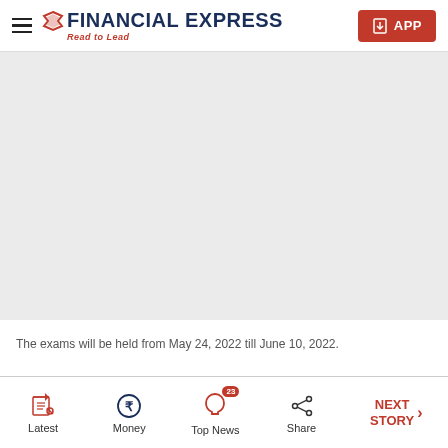FINANCIAL EXPRESS — Read to Lead
[Figure (photo): Light grey placeholder image area for a news article photo]
The exams will be held from May 24, 2022 till June 10, 2022.
Latest | Money | Top News (23) | Share | NEXT STORY